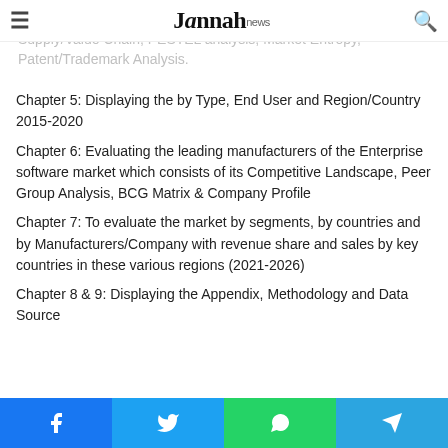Jannah news
Analysis, Post COVID Impact Analysis, Porters Five Forces, Supply/Value Chain, PESTEL analysis, Market Entropy, Patent/Trademark Analysis.
Chapter 5: Displaying the by Type, End User and Region/Country 2015-2020
Chapter 6: Evaluating the leading manufacturers of the Enterprise software market which consists of its Competitive Landscape, Peer Group Analysis, BCG Matrix & Company Profile
Chapter 7: To evaluate the market by segments, by countries and by Manufacturers/Company with revenue share and sales by key countries in these various regions (2021-2026)
Chapter 8 & 9: Displaying the Appendix, Methodology and Data Source
Share buttons: Facebook, Twitter, WhatsApp, Telegram